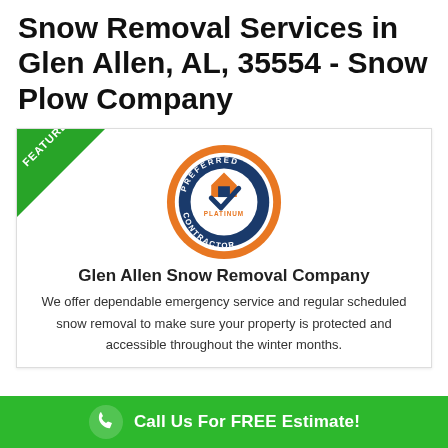Snow Removal Services in Glen Allen, AL, 35554 - Snow Plow Company
[Figure (other): Card with a 'FEATURED' green ribbon banner in the top-left corner, a 'Preferred Contractor Platinum' badge/seal in orange and blue, a company name heading, and descriptive text about snow removal services.]
Glen Allen Snow Removal Company
We offer dependable emergency service and regular scheduled snow removal to make sure your property is protected and accessible throughout the winter months.
Call Us For FREE Estimate!